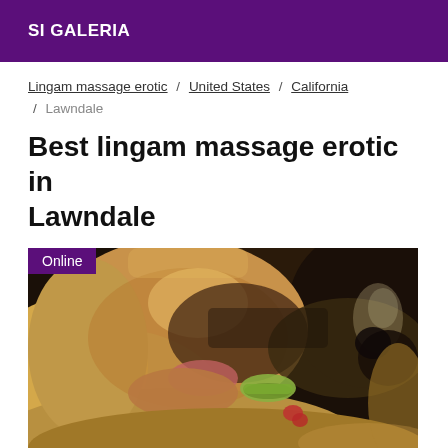SI GALERIA
Lingam massage erotic / United States / California / Lawndale
Best lingam massage erotic in Lawndale
[Figure (photo): Close-up photo of a blonde woman eating a green macaron, with dramatic sunlight and shadow. An 'Online' badge appears in the top-left corner of the image.]